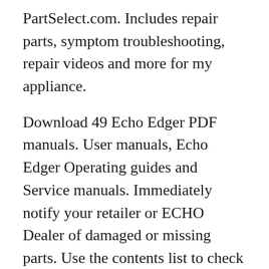PartSelect.com. Includes repair parts, symptom troubleshooting, repair videos and more for my appliance.
Download 49 Echo Edger PDF manuals. User manuals, Echo Edger Operating guides and Service manuals. Immediately notify your retailer or ECHO Dealer of damaged or missing parts. Use the contents list to check for missing parts. CONTENTS __1, Edger Assembly __1, Power Head __1, Drive Shaft Assembly __1, Plastic Bag (Co-Pack) __1, Operators Manual __1, Safety Manual __1, Warranty Registration Card __1, ECHO Emissions and Warranty Statement
03/08/2018B B· I like it a lot. How To Edge Like A